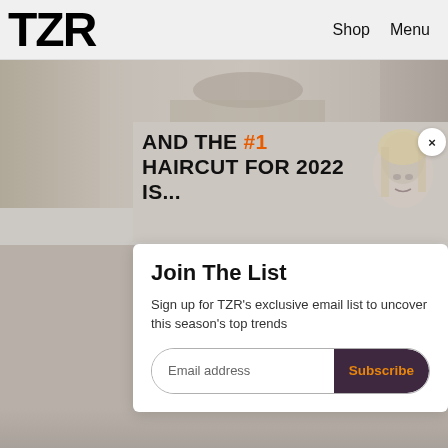TZR   Shop   Menu
[Figure (screenshot): Fashion website screenshot showing TZR logo in top-left header with Shop and Menu navigation links on the right. Below is a fashion article image and an email signup modal popup.]
AND THE #1 HAIRCUT FOR 2022 IS...
Join The List
Sign up for TZR's exclusive email list to uncover this season's top trends
Email address   Subscribe